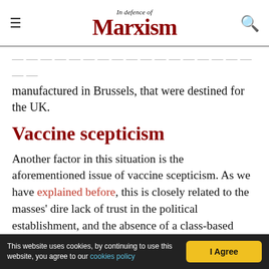In Defence of Marxism
manufactured in Brussels, that were destined for the UK.
Vaccine scepticism
Another factor in this situation is the aforementioned issue of vaccine scepticism. As we have explained before, this is closely related to the masses' dire lack of trust in the political establishment, and the absence of a class-based explanation and programme from the left for the seemingly endless nightmare of lockdowns and
This website uses cookies, by continuing to use this website, you agree to our cookies policy   I Agree